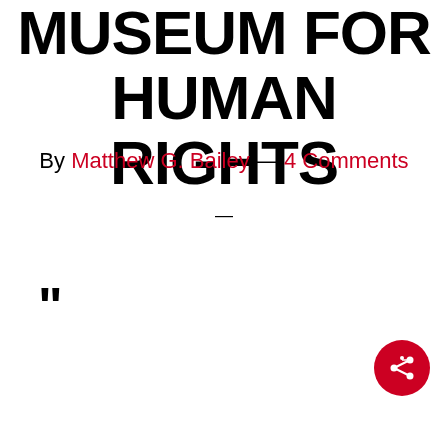MUSEUM FOR HUMAN RIGHTS
By Matthew G. Bailey — 4 Comments
—
“
[Figure (infographic): Red circular share button with share/network icon in white]